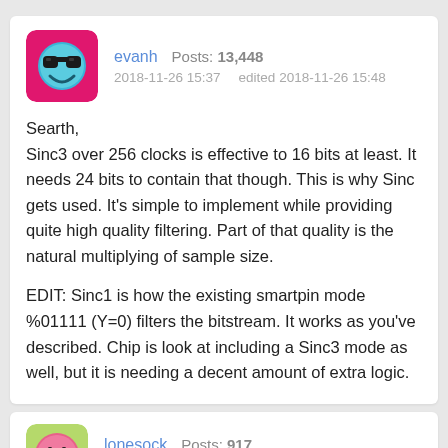evanh   Posts: 13,448
2018-11-26 15:37   edited 2018-11-26 15:48
Searth,
Sinc3 over 256 clocks is effective to 16 bits at least. It needs 24 bits to contain that though. This is why Sinc gets used. It's simple to implement while providing quite high quality filtering. Part of that quality is the natural multiplying of sample size.

EDIT: Sinc1 is how the existing smartpin mode %01111 (Y=0) filters the bitstream. It works as you've described. Chip is look at including a Sinc3 mode as well, but it is needing a decent amount of extra logic.
lonesock   Posts: 917
2018-11-26 16:17